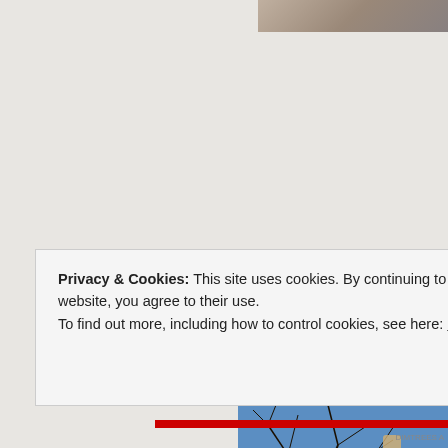[Figure (photo): Partial view of a photo at the top right corner, showing a brownish/grey object on a support structure]
This is what it looks like, sitting on a support, awaiting installation wh asked if he'd like to try something challenging.
[Figure (photo): Photo of bare tree branches against a blue sky with a person's hand holding a device, taken from below]
Privacy & Cookies: This site uses cookies. By continuing to use this website, you agree to their use.
To find out more, including how to control cookies, see here: Cookie Policy
Close and accept